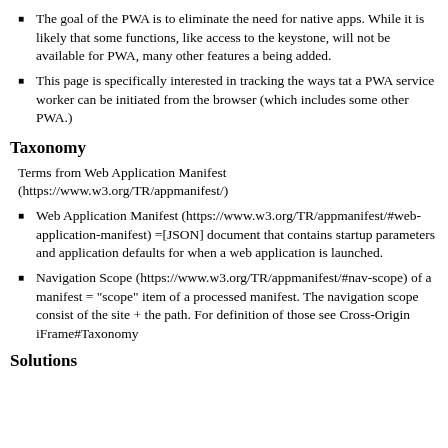The goal of the PWA is to eliminate the need for native apps. While it is likely that some functions, like access to the keystone, will not be available for PWA, many other features a being added.
This page is specifically interested in tracking the ways tat a PWA service worker can be initiated from the browser (which includes some other PWA.)
Taxonomy
Terms from Web Application Manifest (https://www.w3.org/TR/appmanifest/)
Web Application Manifest (https://www.w3.org/TR/appmanifest/#web-application-manifest) =[JSON] document that contains startup parameters and application defaults for when a web application is launched.
Navigation Scope (https://www.w3.org/TR/appmanifest/#nav-scope) of a manifest = "scope" item of a processed manifest. The navigation scope consist of the site + the path. For definition of those see Cross-Origin iFrame#Taxonomy
Solutions